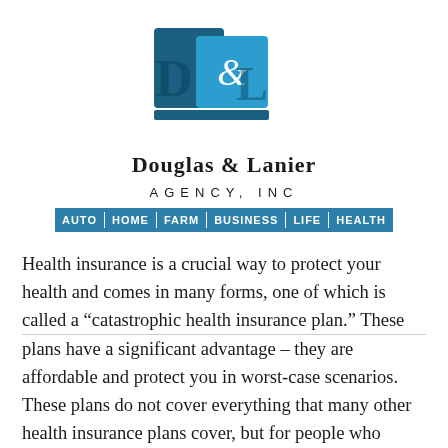[Figure (logo): Douglas & Lanier Agency, Inc. logo — blue square icon with stylized D and L letters and ampersand, followed by company name and navigation bar with AUTO | HOME | FARM | BUSINESS | LIFE | HEALTH]
Health insurance is a crucial way to protect your health and comes in many forms, one of which is called a “catastrophic health insurance plan.” These plans have a significant advantage – they are affordable and protect you in worst-case scenarios. These plans do not cover everything that many other health insurance plans cover, but for people who rarely visit a physician and are generally health...